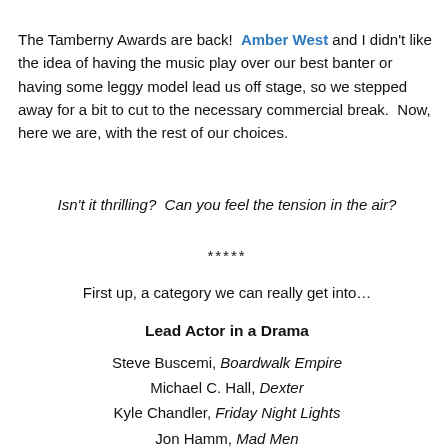The Tamberny Awards are back! Amber West and I didn't like the idea of having the music play over our best banter or having some leggy model lead us off stage, so we stepped away for a bit to cut to the necessary commercial break. Now, here we are, with the rest of our choices.
Isn't it thrilling? Can you feel the tension in the air?
*****
First up, a category we can really get into…
Lead Actor in a Drama
Steve Buscemi, Boardwalk Empire
Michael C. Hall, Dexter
Kyle Chandler, Friday Night Lights
Jon Hamm, Mad Men